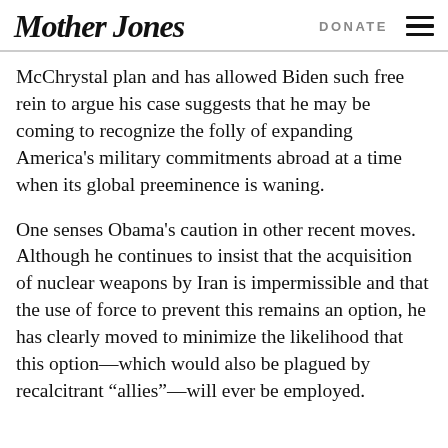Mother Jones | DONATE
McChrystal plan and has allowed Biden such free rein to argue his case suggests that he may be coming to recognize the folly of expanding America’s military commitments abroad at a time when its global preeminence is waning.
One senses Obama’s caution in other recent moves. Although he continues to insist that the acquisition of nuclear weapons by Iran is impermissible and that the use of force to prevent this remains an option, he has clearly moved to minimize the likelihood that this option—which would also be plagued by recalcitrant “allies”—will ever be employed.